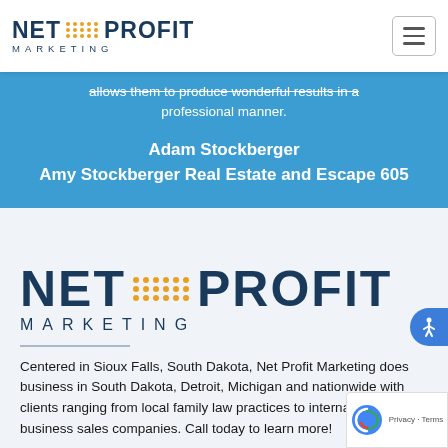[Figure (logo): Net Profit Marketing logo in navigation bar]
allows them to produce wonderful results in a professional manner.
Adam Stockberger
Amy Stockberger Real Estate and Escape 605
[Figure (logo): Net Profit Marketing large logo]
Centered in Sioux Falls, South Dakota, Net Profit Marketing does business in South Dakota, Detroit, Michigan and nationwide with clients ranging from local family law practices to international business sales companies. Call today to learn more!